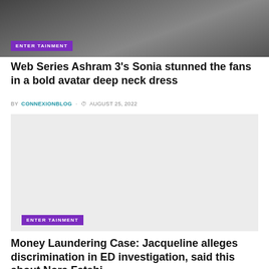[Figure (photo): Top cropped image showing people, partially visible, dark background with entertainment badge]
Web Series Ashram 3’s Sonia stunned the fans in a bold avatar deep neck dress
BY CONNEXIONBLOG © AUGUST 25, 2022
[Figure (photo): Light gray placeholder image with Entertainment badge at bottom left]
Money Laundering Case: Jacqueline alleges discrimination in ED investigation, said this about Nora Fatehi